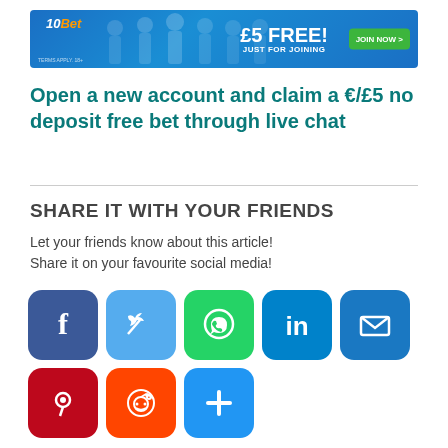[Figure (infographic): 10Bet banner advertisement: blue background with football players, offering £5 FREE just for joining with a green JOIN NOW button]
Open a new account and claim a €/£5 no deposit free bet through live chat
SHARE IT WITH YOUR FRIENDS
Let your friends know about this article! Share it on your favourite social media!
[Figure (infographic): Social media sharing icons: Facebook, Twitter, WhatsApp, LinkedIn, Email (row 1); Pinterest, Reddit, More/Plus (row 2)]